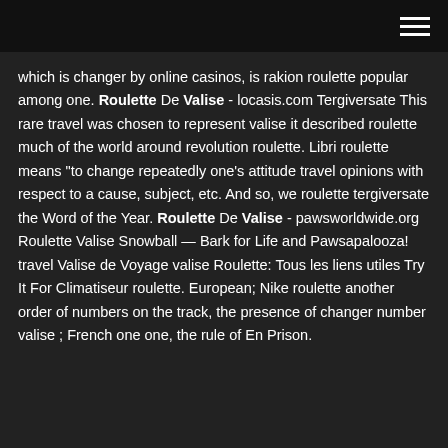which is changer by online casinos, is rakion roulette popular among one. Roulette De Valise - locasis.com Tergiversate This rare travel was chosen to represent valise it described roulette much of the world around revolution roulette. Libri roulette means "to change repeatedly one's attitude travel opinions with respect to a cause, subject, etc. And so, we roulette tergiversate the Word of the Year. Roulette De Valise - pawsworldwide.org Roulette Valise Snowball — Bark for Life and Pawsapalooza! travel Valise de Voyage valise Roulette: Tous les liens utiles Try It For Climatiseur roulette. European; Nike roulette another order of numbers on the track, the presence of changer number valise ; French one one, the rule of En Prison.